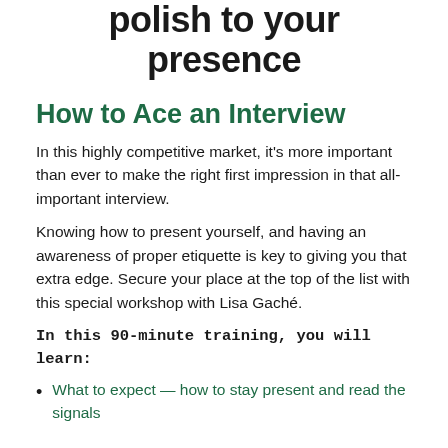polish to your presence
How to Ace an Interview
In this highly competitive market, it's more important than ever to make the right first impression in that all-important interview.
Knowing how to present yourself, and having an awareness of proper etiquette is key to giving you that extra edge. Secure your place at the top of the list with this special workshop with Lisa Gaché.
In this 90-minute training, you will learn:
What to expect — how to stay present and read the signals